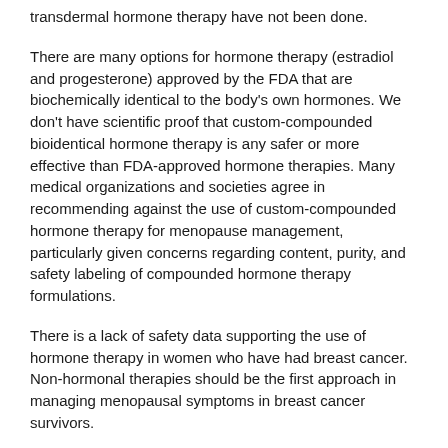transdermal hormone therapy have not been done.
There are many options for hormone therapy (estradiol and progesterone) approved by the FDA that are biochemically identical to the body's own hormones. We don't have scientific proof that custom-compounded bioidentical hormone therapy is any safer or more effective than FDA-approved hormone therapies. Many medical organizations and societies agree in recommending against the use of custom-compounded hormone therapy for menopause management, particularly given concerns regarding content, purity, and safety labeling of compounded hormone therapy formulations.
There is a lack of safety data supporting the use of hormone therapy in women who have had breast cancer. Non-hormonal therapies should be the first approach in managing menopausal symptoms in breast cancer survivors.
The Bottom Line:
Hormone therapy is an acceptable option for the relatively young (up to age 59 or within 10 years of menopause) and healthy women who are bothered by moderate to severe menopausal symptoms. Individualization is key in the decision to use hormone therapy. Consideration should be given to the woman's quality of life